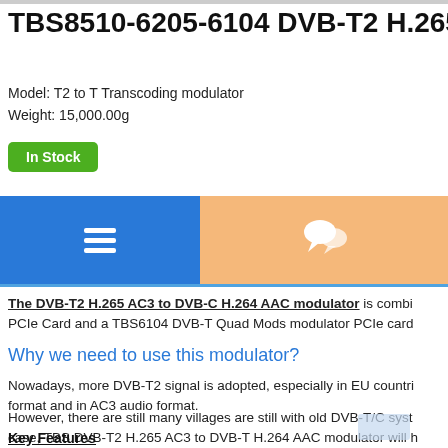TBS8510-6205-6104 DVB-T2 H.265 AC...
Model: T2 to T Transcoding modulator
Weight: 15,000.00g
In Stock
[Figure (infographic): Navigation bar with blue hamburger menu icon on left and orange/peach chat bubble icon on right]
The DVB-T2 H.265 AC3 to DVB-C H.264 AAC modulator is combi... PCIe Card and a TBS6104 DVB-T Quad Mods modulator PCIe card...
Why we need to use this modulator?
Nowadays, more DVB-T2 signal is adopted, especially in EU countri... format and in AC3 audio format.
However, there are still many villages are still with old DVB-T/C syst... case, TBS DVB-T2 H.265 AC3 to DVB-T H.264 AAC modulator will h...
Key Features